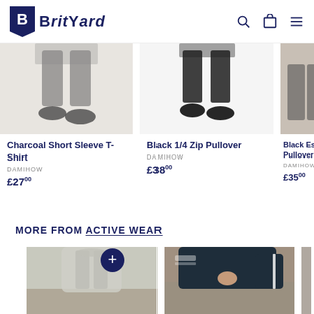[Figure (logo): BritYard logo with navy B icon and bold serif text]
[Figure (photo): Product photo: Charcoal Short Sleeve T-Shirt, person's lower body visible]
Charcoal Short Sleeve T-Shirt
DAMIHOW
£27.00
[Figure (photo): Product photo: Black 1/4 Zip Pullover, person wearing black athletic outfit]
Black 1/4 Zip Pullover
DAMIHOW
£38.00
[Figure (photo): Product photo: Black Essential Pullover, partially visible]
Black Es... Pullover
DAMIHOW
£35.00
MORE FROM ACTIVE WEAR
[Figure (photo): Active wear product photo: light grey wide-leg pants]
[Figure (photo): Active wear product photo: dark navy track pants with white stripe, person seated]
[Figure (photo): Active wear product photo: partially visible, cropped right]